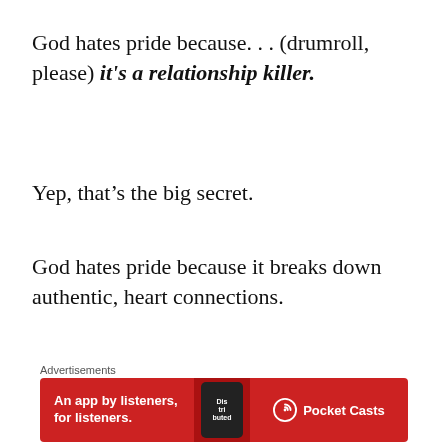God hates pride because. . . (drumroll, please) it's a relationship killer.
Yep, that’s the big secret.
God hates pride because it breaks down authentic, heart connections.
And on the flip side, God L-O-V-E-S humility
Advertisements
[Figure (other): Pocket Casts advertisement banner: red background with text 'An app by listeners, for listeners.' and Pocket Casts logo]